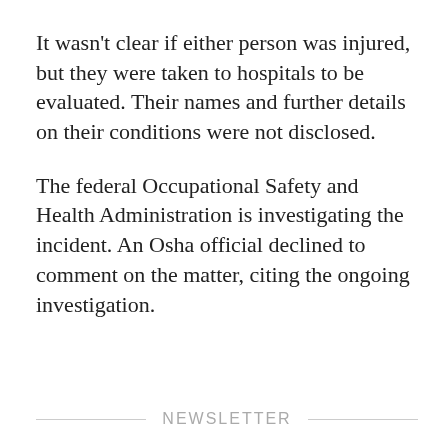It wasn’t clear if either person was injured, but they were taken to hospitals to be evaluated. Their names and further details on their conditions were not disclosed.
The federal Occupational Safety and Health Administration is investigating the incident. An Osha official declined to comment on the matter, citing the ongoing investigation.
[Figure (infographic): Four social media share buttons: Facebook (blue), Twitter (light blue), Reddit (orange), Email (dark grey)]
NEWSLETTER